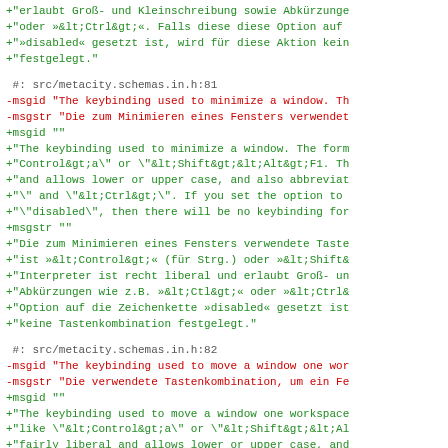Code block showing gettext PO file entries with German translations for metacity keybinding schema entries (lines 81-82)